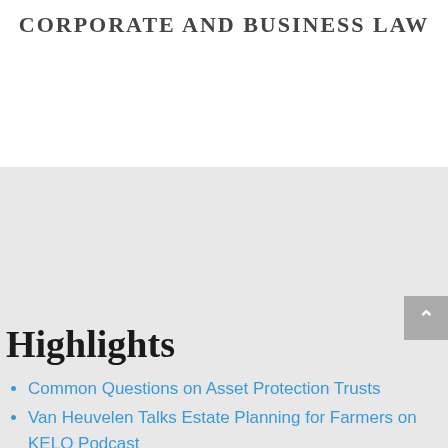CORPORATE AND BUSINESS LAW
Highlights
Common Questions on Asset Protection Trusts
Van Heuvelen Talks Estate Planning for Farmers on KELO Podcast